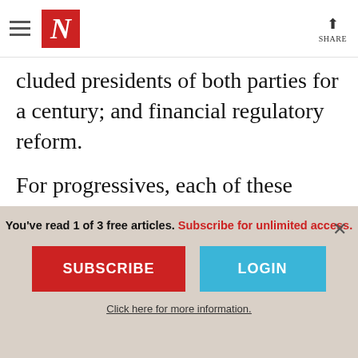The Nation — navigation header with hamburger menu, N logo, and share button
cluded presidents of both parties for a century; and financial regulatory reform.
For progressives, each of these accomplishments are flawed—the stimulus could have been bigger, there could have been a public option in healthcare and more teeth in financial regulation—but they are long strides in the right direction, and given
You've read 1 of 3 free articles. Subscribe for unlimited access.
SUBSCRIBE
LOGIN
Click here for more information.